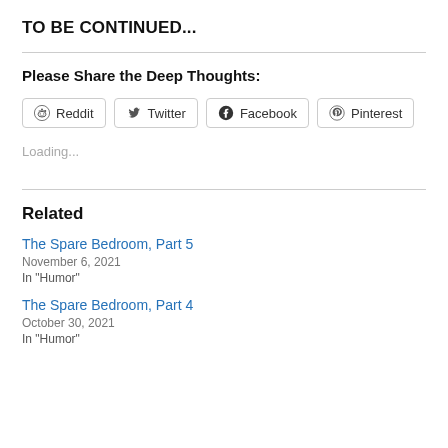TO BE CONTINUED...
Please Share the Deep Thoughts:
Reddit  Twitter  Facebook  Pinterest
Loading...
Related
The Spare Bedroom, Part 5
November 6, 2021
In "Humor"
The Spare Bedroom, Part 4
October 30, 2021
In "Humor"